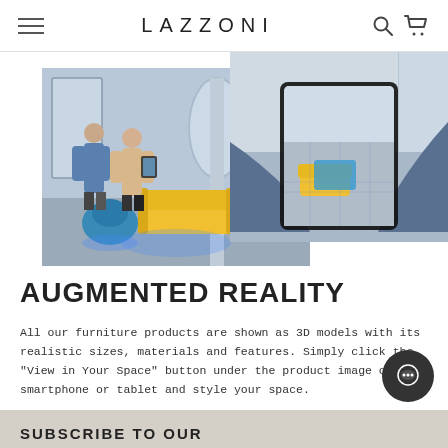LAZZONI
[Figure (photo): Two people standing in a modern showroom using AR to view yellow sofa and blue chair furniture placement on a tablet device]
[Figure (photo): Close-up of hands holding a tablet showing AR view of yellow and blue sofa in a room]
AUGMENTED REALITY
All our furniture products are shown as 3D models with its realistic sizes, materials and features. Simply click the "View in Your Space" button under the product image on your smartphone or tablet and style your space.
SUBSCRIBE TO OUR